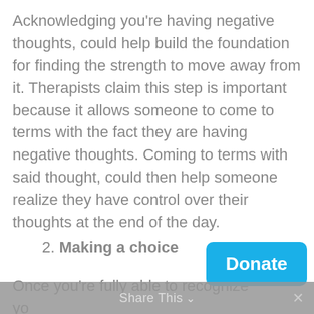Acknowledging you're having negative thoughts, could help build the foundation for finding the strength to move away from it. Therapists claim this step is important because it allows someone to come to terms with the fact they are having negative thoughts. Coming to terms with said thought, could then help someone realize they have control over their thoughts at the end of the day.
2. Making a choice
Once you're fully able to recognize yo... a negative, the next step one could take is to